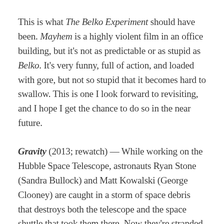This is what The Belko Experiment should have been. Mayhem is a highly violent film in an office building, but it's not as predictable or as stupid as Belko. It's very funny, full of action, and loaded with gore, but not so stupid that it becomes hard to swallow. This is one I look forward to revisiting, and I hope I get the chance to do so in the near future.
Gravity (2013; rewatch) — While working on the Hubble Space Telescope, astronauts Ryan Stone (Sandra Bullock) and Matt Kowalski (George Clooney) are caught in a storm of space debris that destroys both the telescope and the space shuttle that took them there. Now they're stranded in space, running out of air and jetpack fuel. It's a tense, tight thriller with good effects, and this screening was followed by a presentation from